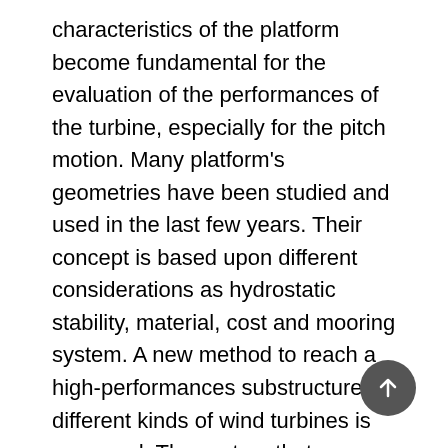characteristics of the platform become fundamental for the evaluation of the performances of the turbine, especially for the pitch motion. Many platform's geometries have been studied and used in the last few years. Their concept is based upon different considerations as hydrostatic stability, material, cost and mooring system. A new method to reach a high-performances substructure for different kinds of wind turbines is proposed. The system that considers substructure, mooring, and wind turbine is implemented in Orcaflex, and the simulations are performed considering several sea states and wind speeds. An external dynamic library is implemented for the turbine control system. The study shows the comparison among different substructures and the new concepts developed. In order to validate the model, CFD simulations will be performed by mean of STAR CCM+, and a comparison between rigid and